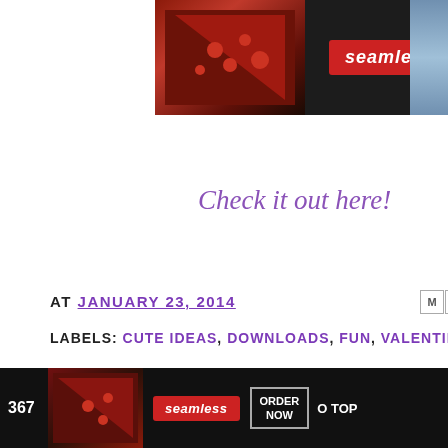[Figure (screenshot): Seamless food delivery advertisement banner at top with pizza image, Seamless logo in red, and ORDER NOW button]
Check it out here!
AT JANUARY 23, 2014
[Figure (screenshot): Social sharing icons: email (M), Blogger (B), Twitter bird, Facebook (f), Pinterest (P)]
LABELS: CUTE IDEAS, DOWNLOADS, FUN, VALENTINE'S DAY
[Figure (illustration): Repeating decorative arrow icons row]
[Figure (screenshot): CLOSE button overlay and bottom Seamless ad banner with 367 page number and O TOP navigation text]